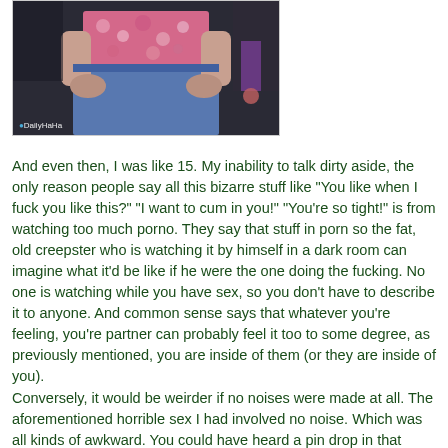[Figure (photo): Photo of a person wearing a floral pink top and jeans, with a DailyHaha watermark in the lower left corner.]
And even then, I was like 15. My inability to talk dirty aside, the only reason people say all this bizarre stuff like "You like when I fuck you like this?" "I want to cum in you!" "You're so tight!" is from watching too much porno. They say that stuff in porn so the fat, old creepster who is watching it by himself in a dark room can imagine what it'd be like if he were the one doing the fucking. No one is watching while you have sex, so you don't have to describe it to anyone. And common sense says that whatever you're feeling, you're partner can probably feel it too to some degree, as previously mentioned, you are inside of them (or they are inside of you).
Conversely, it would be weirder if no noises were made at all. The aforementioned horrible sex I had involved no noise. Which was all kinds of awkward. You could have heard a pin drop in that room. I can